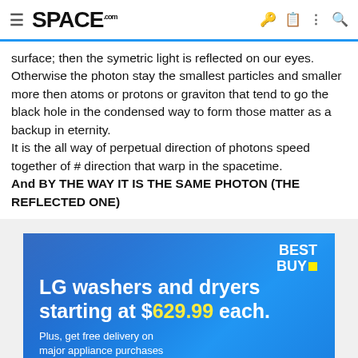≡ SPACE.com [icons: key, clipboard, dots, search]
surface; then the symetric light is reflected on our eyes. Otherwise the photon stay the smallest particles and smaller more then atoms or protons or graviton that tend to go the black hole in the condensed way to form those matter as a backup in eternity.
It is the all way of perpetual direction of photons speed together of # direction that warp in the spacetime.
And BY THE WAY IT IS THE SAME PHOTON (THE REFLECTED ONE)
[Figure (photo): Best Buy advertisement banner for LG washers and dryers starting at $629.99 each. Plus, get free delivery on major appliance purchases $399.99 and up.]